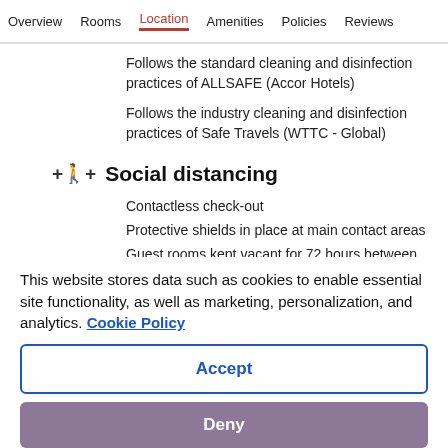Overview | Rooms | Location | Amenities | Policies | Reviews
Follows the standard cleaning and disinfection practices of ALLSAFE (Accor Hotels)
Follows the industry cleaning and disinfection practices of Safe Travels (WTTC - Global)
Social distancing
Contactless check-out
Protective shields in place at main contact areas
Guest rooms kept vacant for 72 hours between stays
This website stores data such as cookies to enable essential site functionality, as well as marketing, personalization, and analytics. Cookie Policy
Accept
Deny